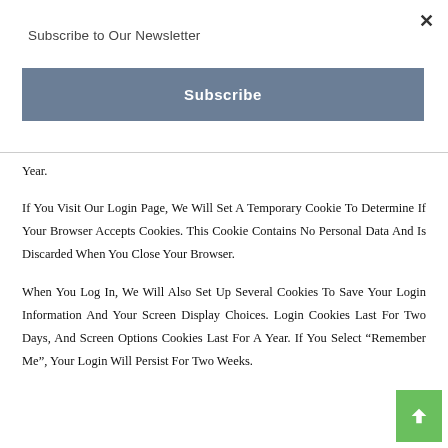Subscribe to Our Newsletter
[Figure (other): Blue-grey Subscribe button]
Year.
If You Visit Our Login Page, We Will Set A Temporary Cookie To Determine If Your Browser Accepts Cookies. This Cookie Contains No Personal Data And Is Discarded When You Close Your Browser.
When You Log In, We Will Also Set Up Several Cookies To Save Your Login Information And Your Screen Display Choices. Login Cookies Last For Two Days, And Screen Options Cookies Last For A Year. If You Select “Remember Me”, Your Login Will Persist For Two Weeks.